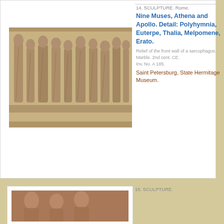[Figure (photo): Photograph of a marble relief sculpture showing Nine Muses, Athena and Apollo, detail showing Polyhymnia, Euterpe, Thalia, Melpomene, Erato. Relief of the front wall of a sarcophagus. Roman art.]
14. SCULPTURE. Rome.
Nine Muses, Athena and Apollo. Detail: Polyhymnia, Euterpe, Thalia, Melpomene, Erato.
Relief of the front wall of a sarcophagus. Marble. 2nd cent. CE. Inv. No. A 185.
Saint Petersburg, State Hermitage Museum.
15. SCULPTURE.
[Figure (photo): Partial view of another sculpture photograph at the bottom of the page.]